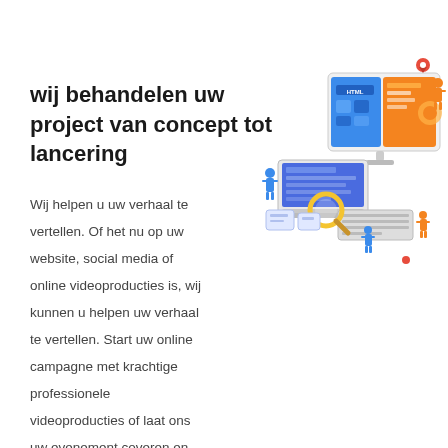wij behandelen uw project van concept tot lancering
[Figure (illustration): Isometric illustration showing web development/digital marketing: a laptop, a large desktop monitor displaying a web interface with HTML label, small figures of people working around the devices, a magnifying glass, and a location pin icon. Orange, blue, and yellow color scheme.]
Wij helpen u uw verhaal te vertellen. Of het nu op uw website, social media of online videoproducties is, wij kunnen u helpen uw verhaal te vertellen. Start uw online campagne met krachtige professionele videoproducties of laat ons uw evenement coveren en promoten. Ons team helpt u